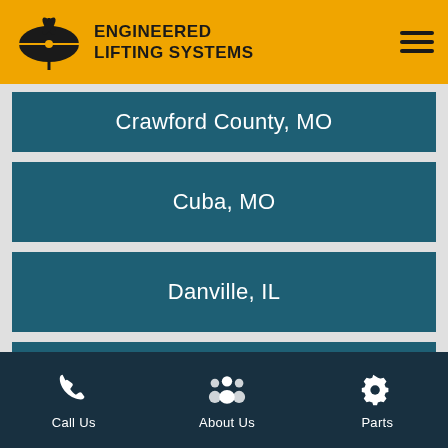ENGINEERED LIFTING SYSTEMS
Crawford County, MO
Cuba, MO
Danville, IL
Decatur, IL
Du Quoin, IL
Call Us  About Us  Parts